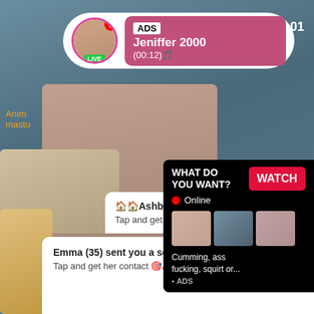[Figure (screenshot): Mobile app screenshot showing adult content advertisements with notification bar, live stream overlay, and ad popups]
ADS
Jeniffer 2000
(00:12)🎵
2:01
Anim
mastu
6857
WHAT DO YOU WANT?
WATCH
● Online
Cumming, ass fucking, squirt or...
• ADS
🏠🏠Ashburn
Tap and get her contact 🎯Ashburn 🎯
Emma (35) sent you a sex request🏠🏠Ashburn
Tap and get her contact 🎯Ashburn 🎯